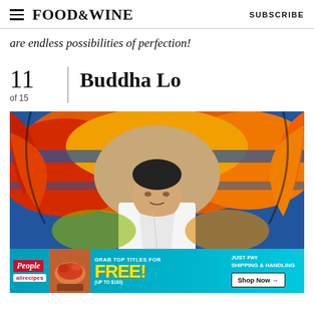FOOD&WINE   SUBSCRIBE
are endless possibilities of perfection!
11
of 15
Buddha Lo
[Figure (photo): Photo of Buddha Lo, an Asian chef in white chef's coat, standing in front of a colorful mural with red, orange, blue, and yellow patterns]
[Figure (infographic): Advertisement banner: People and allrecipes magazines. Text reads: GRAB TOP TITLES FOR FREE! (UP TO $100) JUST PAY SHIPPING & HANDLING. Shop Now arrow button.]